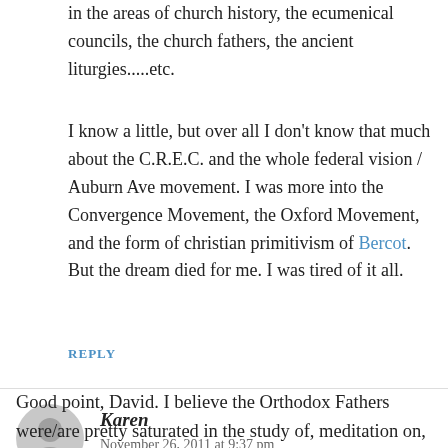in the areas of church history, the ecumenical councils, the church fathers, the ancient liturgies.....etc.
I know a little, but over all I don't know that much about the C.R.E.C. and the whole federal vision / Auburn Ave movement. I was more into the Convergence Movement, the Oxford Movement, and the form of christian primitivism of Bercot. But the dream died for me. I was tired of it all.
REPLY
Karen
November 26, 2011 at 9:37 pm
Good point, David. I believe the Orthodox Fathers were/are pretty saturated in the study of, meditation on,